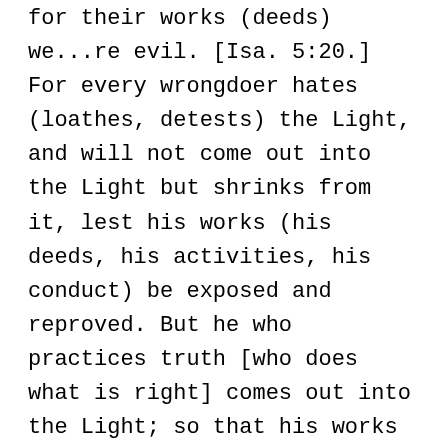for their works (deeds) we...re evil. [Isa. 5:20.] For every wrongdoer hates (loathes, detests) the Light, and will not come out into the Light but shrinks from it, lest his works (his deeds, his activities, his conduct) be exposed and reproved. But he who practices truth [who does what is right] comes out into the Light; so that his works may be plainly shown to be what they are–wrought with God [divinely prompted, done with God's help, in dependence upon Him].
John 8:12 AMP
Once more Jesus addressed the crowd. He said, I am the Light of the world. He who